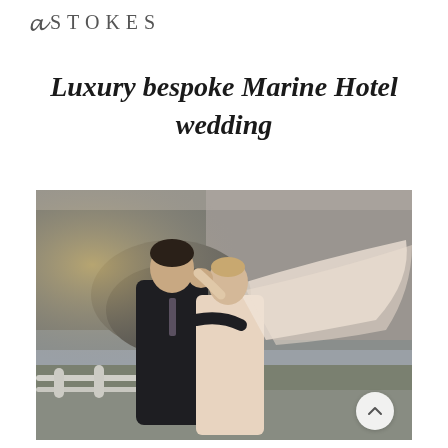STOKES
Luxury bespoke Marine Hotel wedding
[Figure (photo): A couple kissing outdoors near rocky coastal scenery. The groom wears a dark suit with a tie, the bride wears a light champagne/blush gown with a long flowing veil billowing in the wind. A wooden fence railing is visible in the foreground.]